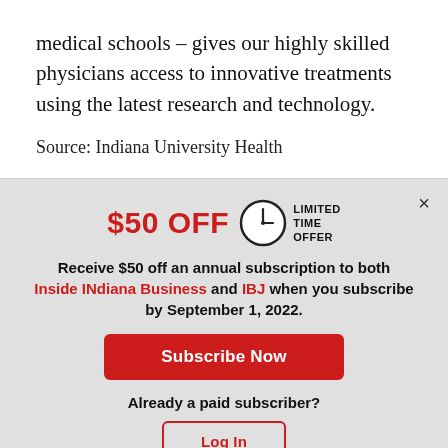medical schools – gives our highly skilled physicians access to innovative treatments using the latest research and technology.
Source: Indiana University Health
[Figure (infographic): Promotional modal with $50 OFF limited time offer for annual subscription to Inside INdiana Business and IBJ when subscribing by September 1, 2022. Includes Subscribe Now button and Log In button for existing subscribers.]